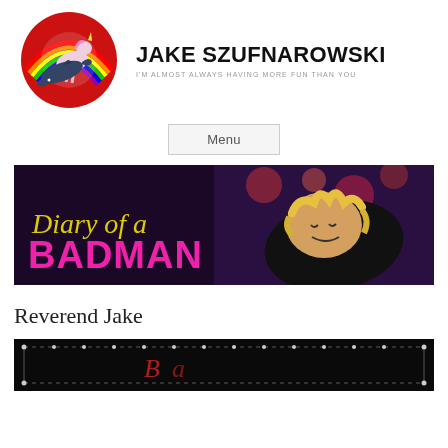[Figure (logo): Cartoon logo: unicorn riding a dolphin in front of a rainbow circle, colorful fantasy illustration]
JAKE SZUFNAROWSKI
I'M ALMOST ALWAYS HAVING MORE FUN THAN YOU
Menu
[Figure (photo): Banner image: 'Diary of a BADMAN' text on dark background with photo of performer with curly blonde hair wearing black outfit with red fringe, lying on side]
Reverend Jake
[Figure (photo): Partial bottom image showing dark background with decorative border lights, beginning of another banner graphic]